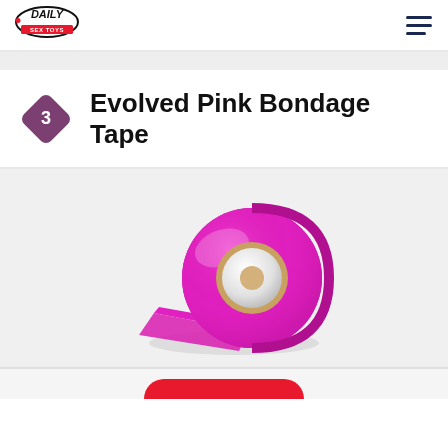Daily Sex Toys logo and hamburger menu
Evolved Pink Bondage Tape
[Figure (photo): A roll of pink/magenta bondage tape on a light gray background, with a piece of tape unrolling from the roll.]